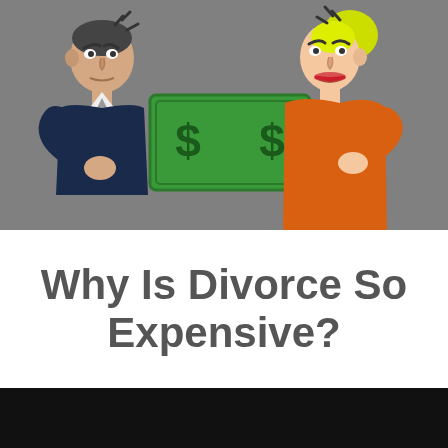[Figure (illustration): Cartoon illustration of a man in a navy suit and a woman in an orange dress both tugging at a large green dollar bill from opposite ends, arguing over money. Background is grey. Anger symbols shown above their heads.]
Why Is Divorce So Expensive?
[Figure (other): Black bar at the bottom of the page, likely a video player or banner.]